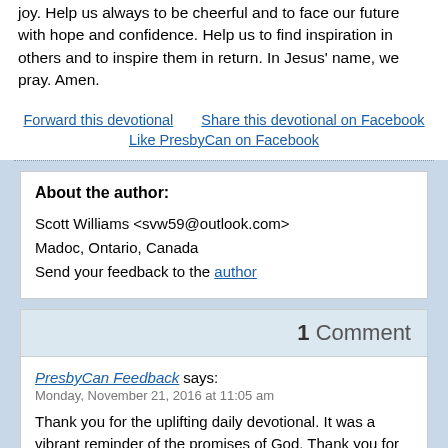joy. Help us always to be cheerful and to face our future with hope and confidence. Help us to find inspiration in others and to inspire them in return. In Jesus' name, we pray. Amen.
Forward this devotional    Share this devotional on Facebook
Like PresbyCan on Facebook
About the author:
Scott Williams <svw59@outlook.com>
Madoc, Ontario, Canada
Send your feedback to the author
1 Comment
PresbyCan Feedback says:
Monday, November 21, 2016 at 11:05 am
Thank you for the uplifting daily devotional. It was a vibrant reminder of the promises of God. Thank you for your faithfulness in writing it.
(ON)
Very encouraging Scott. Thanks for sharing.
Scott – I needed this message today. God bless you.
Thank you, Scott, for sharing the source of joy,